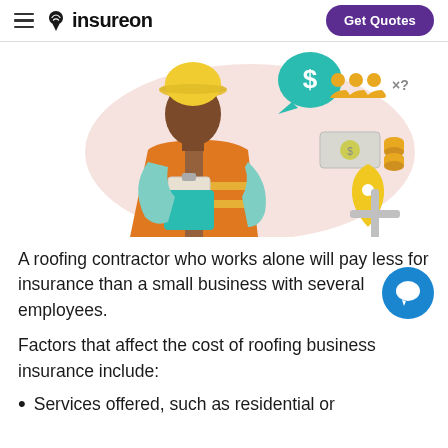insureon | Get Quotes
[Figure (illustration): Illustration of a roofing contractor wearing an orange safety vest and yellow hard hat, holding a clipboard. Around him are icons: a teal speech bubble with a dollar sign, three gold worker figures with 'x?', a money bill and gold coins, and a gold map pin with a plus sign. Background is a light pink blob shape.]
A roofing contractor who works alone will pay less for insurance than a small business with several employees.
Factors that affect the cost of roofing business insurance include:
Services offered, such as residential or